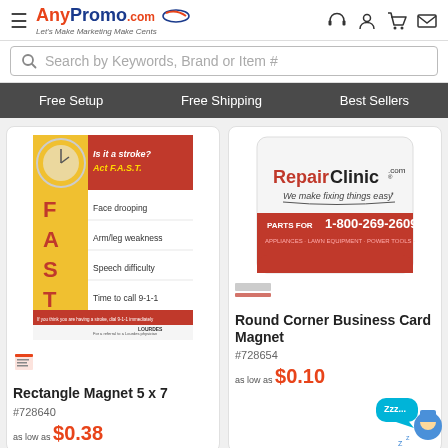[Figure (screenshot): AnyPromo.com website header with hamburger menu, logo, and icons for support, account, cart, and mail]
Search by Keywords, Brand or Item #
Free Setup   Free Shipping   Best Sellers
[Figure (photo): Rectangle magnet product image showing stroke awareness card with FAST acronym]
Rectangle Magnet 5 x 7
#728640
as low as $0.38
[Figure (photo): Round Corner Business Card Magnet product image showing RepairClinic.com branded magnet]
Round Corner Business Card Magnet
#728654
as low as $0.10